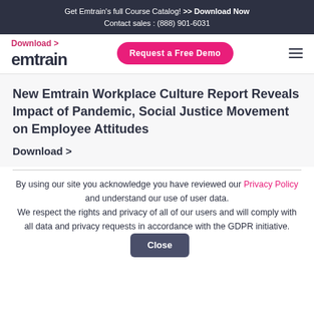Get Emtrain's full Course Catalog! >> Download Now
Contact sales : (888) 901-6031
Download >
[Figure (logo): emtrain logo in dark navy text]
Request a Free Demo
New Emtrain Workplace Culture Report Reveals Impact of Pandemic, Social Justice Movement on Employee Attitudes
Download >
By using our site you acknowledge you have reviewed our Privacy Policy and understand our use of user data. We respect the rights and privacy of all of our users and will comply with all data and privacy requests in accordance with the GDPR initiative.
Close